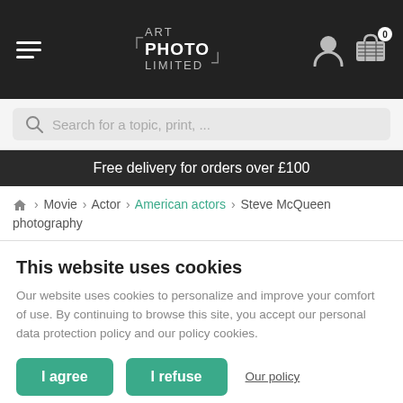[Figure (screenshot): Website navigation bar with hamburger menu, ART PHOTO LIMITED logo, user icon, and shopping cart with 0 items]
[Figure (screenshot): Search bar with placeholder text 'Search for a topic, print, ...']
Free delivery for orders over £100
🏠 › Movie › Actor › American actors › Steve McQueen photography
This website uses cookies
Our website uses cookies to personalize and improve your comfort of use. By continuing to browse this site, you accept our personal data protection policy and our policy cookies.
I agree | I refuse | Our policy